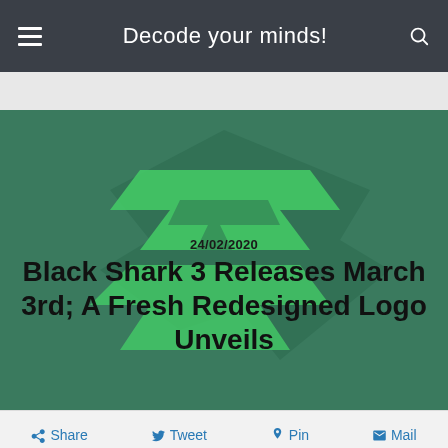Decode your minds!
[Figure (illustration): Black Shark logo / gaming phone branded hero image on green background with date 24/02/2020 and article title overlay]
24/02/2020
Black Shark 3 Releases March 3rd; A Fresh Redesigned Logo Unveils
Share  Tweet  Pin  Mail
[Figure (photo): Baseus branded product photo showing a phone charger or cable on gray background with yellow Baseus logo label]